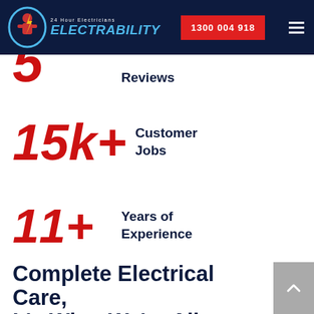24 Hour Electricians ELECTRABILITY | 1300 004 918
5 Reviews
15k+ Customer Jobs
11+ Years of Experience
Complete Electrical Care, It's What We're All About